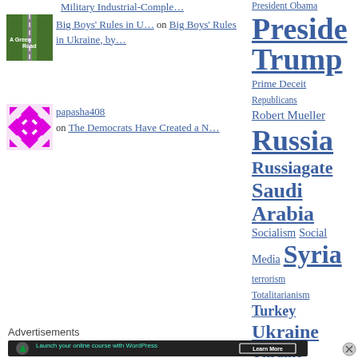Military Industrial-Comple… on Big Boys' Rules in U… on Big Boys' Rules in Ukraine, by…
[Figure (photo): Green road thumbnail image]
Big Boys' Rules in U… on Big Boys' Rules in Ukraine, by…
[Figure (photo): Pink diamond pattern avatar]
papasha408 on The Democrats Have Created a N…
President Obama
President Trump
Prime Deceit
Republicans
Robert Mueller
Russia
Russiagate
Saudi Arabia
Socialism
Social Media
Syria
terrorism
Totalitarianism
Turkey
Ukraine
Ukraine-Russia Wa…
Advertisements
[Figure (infographic): Advertisement banner: Launch your online course with WordPress – Learn More button]